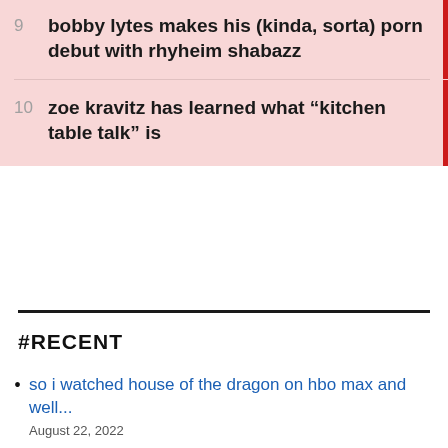9  bobby lytes makes his (kinda, sorta) porn debut with rhyheim shabazz
10  zoe kravitz has learned what “kitchen table talk” is
#RECENT
so i watched house of the dragon on hbo max and well...
August 22, 2022
whether its a specific person or a stranger, manifest that sh*t
August 22, 2022
is 600breezy the only fine rapper these days?